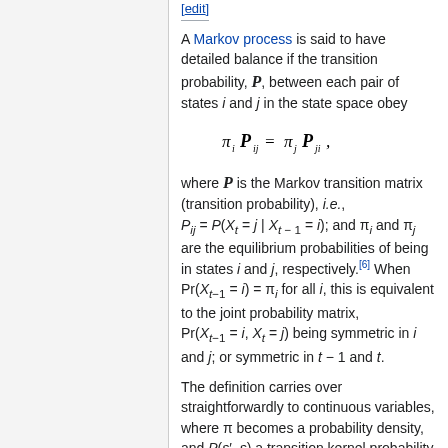[edit]
A Markov process is said to have detailed balance if the transition probability, P, between each pair of states i and j in the state space obey
where P is the Markov transition matrix (transition probability), i.e., P_ij = P(X_t = j | X_{t-1} = i); and π_i and π_j are the equilibrium probabilities of being in states i and j, respectively.[6] When Pr(X_{t-1} = i) = π_i for all i, this is equivalent to the joint probability matrix, Pr(X_{t-1} = i, X_t = j) being symmetric in i and j; or symmetric in t − 1 and t.
The definition carries over straightforwardly to continuous variables, where π becomes a probability density, and P(s', s) a transition kernel probability